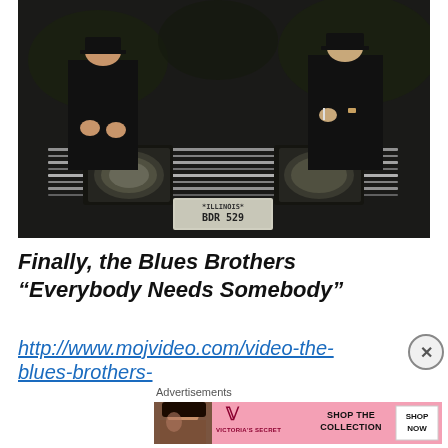[Figure (photo): Two men in dark suits and hats (Blues Brothers) sitting on the hood/front of a black car with Illinois license plate BDR 529]
Finally, the Blues Brothers “Everybody Needs Somebody”
http://www.mojvideo.com/video-the-blues-brothers-
Advertisements
[Figure (advertisement): Victoria's Secret advertisement banner with woman photo, VS logo, SHOP THE COLLECTION text, and SHOP NOW button]